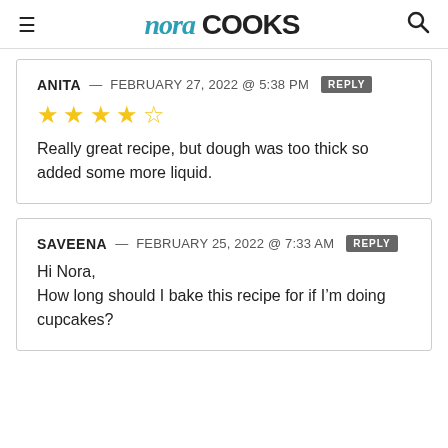nora COOKS
ANITA — FEBRUARY 27, 2022 @ 5:38 PM REPLY
★★★★☆
Really great recipe, but dough was too thick so added some more liquid.
SAVEENA — FEBRUARY 25, 2022 @ 7:33 AM REPLY
Hi Nora,
How long should I bake this recipe for if I'm doing cupcakes?